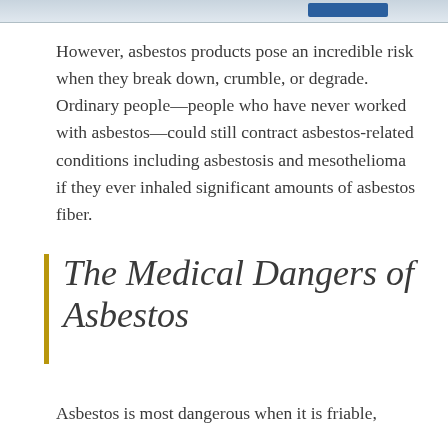[Figure (photo): Partial image strip at the top of the page, appears to show a blue object or tool on a light background]
However, asbestos products pose an incredible risk when they break down, crumble, or degrade. Ordinary people—people who have never worked with asbestos—could still contract asbestos-related conditions including asbestosis and mesothelioma if they ever inhaled significant amounts of asbestos fiber.
The Medical Dangers of Asbestos
Asbestos is most dangerous when it is friable,